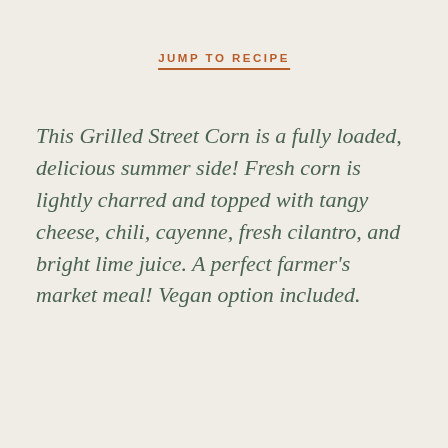JUMP TO RECIPE
This Grilled Street Corn is a fully loaded, delicious summer side! Fresh corn is lightly charred and topped with tangy cheese, chili, cayenne, fresh cilantro, and bright lime juice. A perfect farmer’s market meal! Vegan option included.